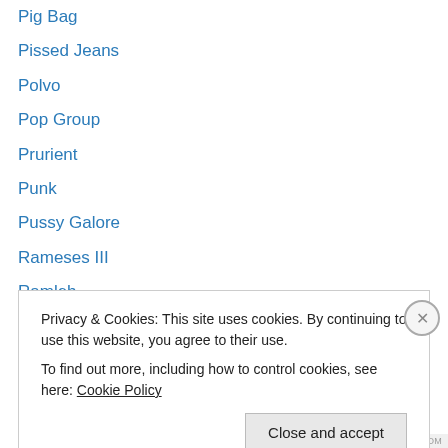Pig Bag
Pissed Jeans
Polvo
Pop Group
Prurient
Punk
Pussy Galore
Rameses III
Ramleh
Rapeman
Regler
Religious Knives
Richard Pinhas
Privacy & Cookies: This site uses cookies. By continuing to use this website, you agree to their use.
To find out more, including how to control cookies, see here: Cookie Policy
Close and accept